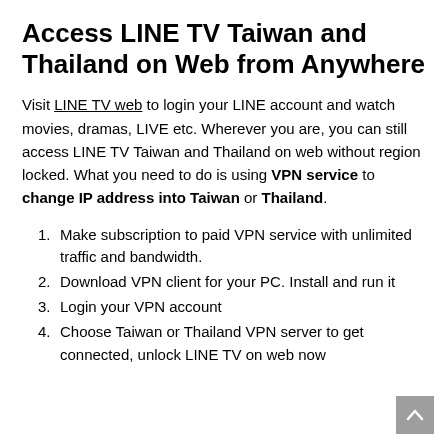Access LINE TV Taiwan and Thailand on Web from Anywhere
Visit LINE TV web to login your LINE account and watch movies, dramas, LIVE etc. Wherever you are, you can still access LINE TV Taiwan and Thailand on web without region locked. What you need to do is using VPN service to change IP address into Taiwan or Thailand.
Make subscription to paid VPN service with unlimited traffic and bandwidth.
Download VPN client for your PC. Install and run it
Login your VPN account
Choose Taiwan or Thailand VPN server to get connected, unlock LINE TV on web now